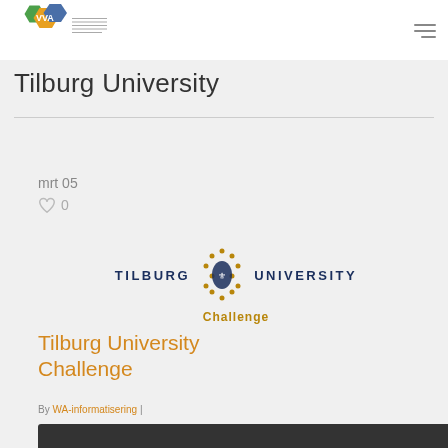[Figure (logo): VVA logo with colorful hexagon shapes and small text]
Tilburg University
mrt 05
♡ 0
[Figure (logo): Tilburg University official logo with university crest and text TILBURG UNIVERSITY, below it says Challenge]
Tilburg University Challenge
By WA-informatisering |